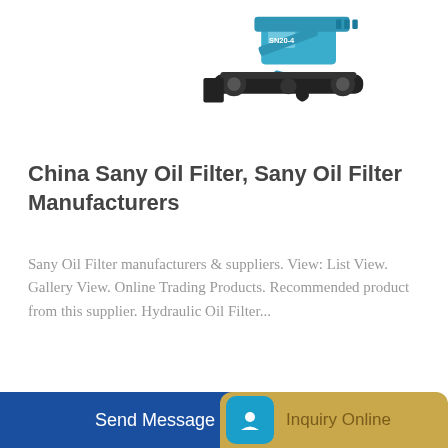[Figure (photo): Blue mini excavator / crawler machine (SANY brand) with black tracks and blade attachment, shown on white background, partially cropped at top]
China Sany Oil Filter, Sany Oil Filter Manufacturers
Sany Oil Filter manufacturers & suppliers. View: List View. Gallery View. Online Trading Products. Recommended product from this supplier. Hydraulic Oil Filter...
Learn More
HOT NEWS
Send Message
LOADI
Inquiry Online